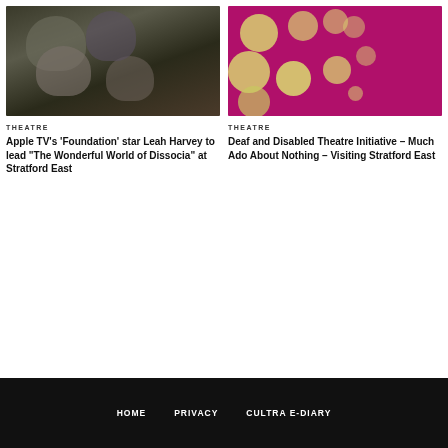[Figure (photo): Dark group photo of people, blurred faces on dark background]
[Figure (photo): Abstract colorful image with yellow blobs on magenta/purple background]
THEATRE
Apple TV’s ‘Foundation’ star Leah Harvey to lead “The Wonderful World of Dissocia” at Stratford East
THEATRE
Deaf and Disabled Theatre Initiative – Much Ado About Nothing – Visiting Stratford East
HOME   PRIVACY   CULTRA E-DIARY